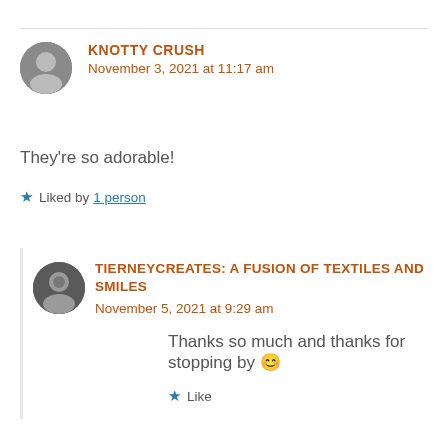KNOTTY CRUSH
November 3, 2021 at 11:17 am
They’re so adorable!
★ Liked by 1 person
TIERNEYCREATES: A FUSION OF TEXTILES AND SMILES
November 5, 2021 at 9:29 am
Thanks so much and thanks for stopping by 😊
★ Like